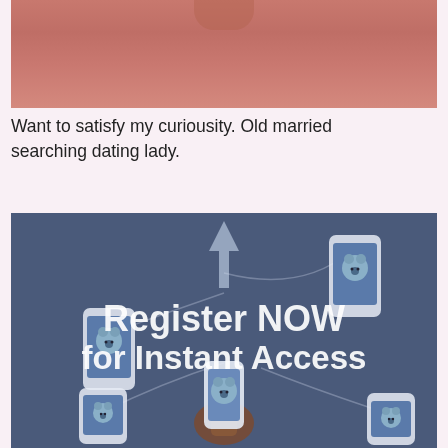[Figure (photo): Top cropped photo showing a person in a pink/salmon colored top, torso area visible]
Want to satisfy my curiousity. Old married searching dating lady.
[Figure (infographic): Dark blue/slate colored banner graphic with multiple illustrated smartphones displaying a polar bear app icon, connected by curved lines to a central upward-pointing arrow. Text overlay reads 'Register NOW for Instant Access'. A hand holds one smartphone at bottom center.]